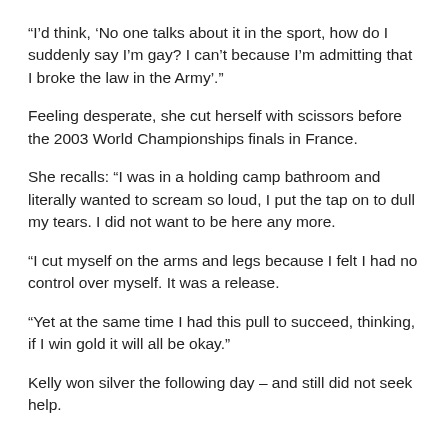“I’d think, ‘No one talks about it in the sport, how do I suddenly say I’m gay? I can’t because I’m admitting that I broke the law in the Army’.”
Feeling desperate, she cut herself with scissors before the 2003 World Championships finals in France.
She recalls: “I was in a holding camp bathroom and literally wanted to scream so loud, I put the tap on to dull my tears. I did not want to be here any more.
“I cut myself on the arms and legs because I felt I had no control over myself. It was a release.
“Yet at the same time I had this pull to succeed, thinking, if I win gold it will all be okay.”
Kelly won silver the following day – and still did not seek help.